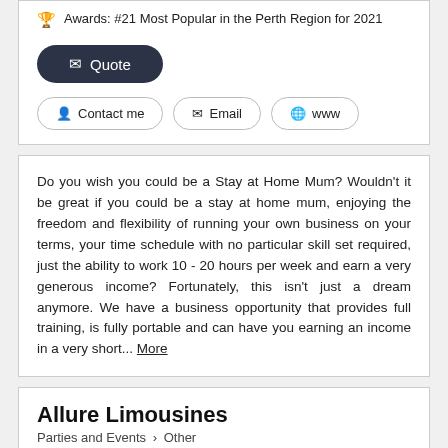Awards: #21 Most Popular in the Perth Region for 2021
Quote
Contact me | Email | www
Do you wish you could be a Stay at Home Mum? Wouldn't it be great if you could be a stay at home mum, enjoying the freedom and flexibility of running your own business on your terms, your time schedule with no particular skill set required, just the ability to work 10 - 20 hours per week and earn a very generous income? Fortunately, this isn't just a dream anymore. We have a business opportunity that provides full training, is fully portable and can have you earning an income in a very short... More
Allure Limousines
Parties and Events > Other
[Figure (photo): Dark photo strip showing limousine vehicles]